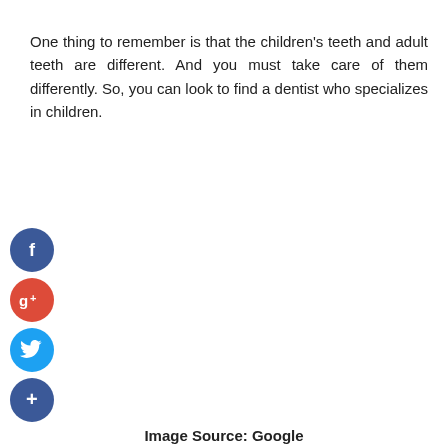One thing to remember is that the children's teeth and adult teeth are different. And you must take care of them differently. So, you can look to find a dentist who specializes in children.
[Figure (infographic): Four social media sharing buttons arranged vertically: Facebook (blue circle with 'f'), Google+ (red circle with 'g+'), Twitter (blue circle with bird icon), and a dark blue circle with '+' icon]
Image Source: Google